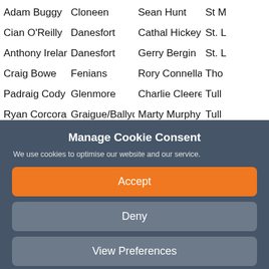| Adam Buggy | Cloneen | Sean Hunt | St M |
| Cian O'Reilly | Danesfort | Cathal Hickey | St. L |
| Anthony Ireland | Danesfort | Gerry Bergin | St. L |
| Craig Bowe | Fenians | Rory Connellan | Tho |
| Padraig Cody | Glenmore | Charlie Cleere | Tull |
| Ryan Corcoran | Graigue/Ballycallan | Marty Murphy | Tull |
| Ivan Bolger | Graiguenamanagh | Ben Phelan | Your |
Manage Cookie Consent
We use cookies to optimise our website and our service.
Accept
Deny
View Preferences